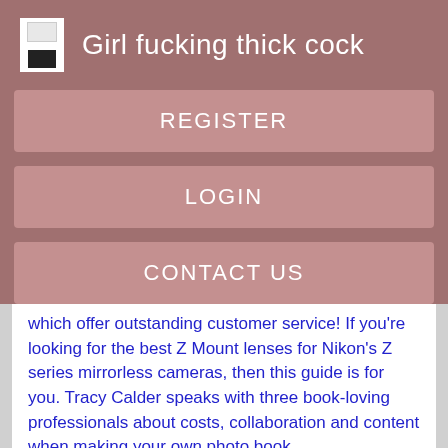Girl fucking thick cock
REGISTER
LOGIN
CONTACT US
which offer outstanding customer service! If you're looking for the best Z Mount lenses for Nikon's Z series mirrorless cameras, then this guide is for you. Tracy Calder speaks with three book-loving professionals about costs, collaboration and content when making your own photo book.